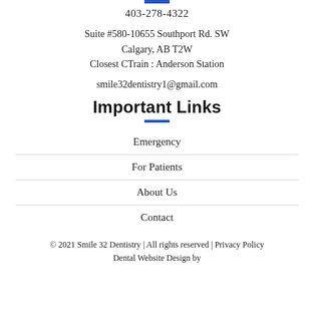403-278-4322
Suite #580-10655 Southport Rd. SW
Calgary, AB T2W
Closest CTrain : Anderson Station
smile32dentistry1@gmail.com
Important Links
Emergency
For Patients
About Us
Contact
© 2021 Smile 32 Dentistry | All rights reserved | Privacy Policy
Dental Website Design by